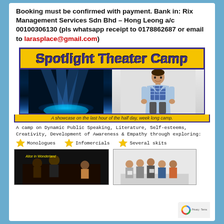Booking must be confirmed with payment. Bank in: Rix Management Services Sdn Bhd – Hong Leong a/c 00100306130 (pls whatsapp receipt to 0178862687 or email to larasplace@gmail.com)
[Figure (illustration): Spotlight Theater Camp banner with yellow background and dark blue bold text]
[Figure (photo): Two photos side by side: left shows a dark stage with spotlight beams, right shows a boy in light blue blazer over plaid shirt]
A showcase on the last hour of the half day, week long camp.
A camp on Dynamic Public Speaking, Literature, Self-esteems, Creativity, Development of Awareness & Empathy through exploring:
Monologues
Infomercials
Several skits
[Figure (photo): Two photos at bottom: left shows Alice in Wonderland theater scene with yellow caption text, right shows group of kids in a classroom/stage setting]